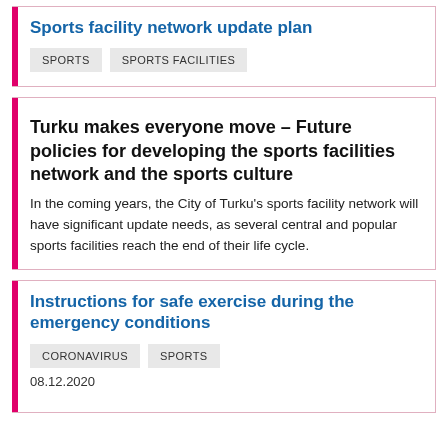Sports facility network update plan
SPORTS
SPORTS FACILITIES
Turku makes everyone move – Future policies for developing the sports facilities network and the sports culture
In the coming years, the City of Turku's sports facility network will have significant update needs, as several central and popular sports facilities reach the end of their life cycle.
Instructions for safe exercise during the emergency conditions
CORONAVIRUS
SPORTS
08.12.2020